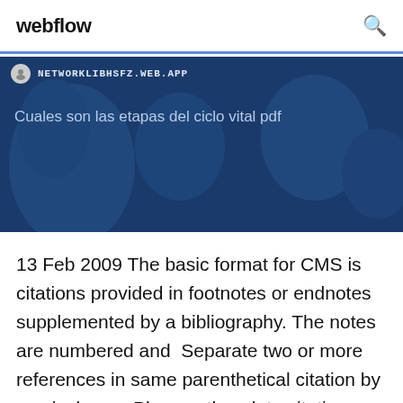webflow
[Figure (screenshot): Blue banner with URL bar showing NETWORKLIBHSFZ.WEB.APP and text 'Cuales son las etapas del ciclo vital pdf' on a dark blue background with map imagery]
13 Feb 2009 The basic format for CMS is citations provided in footnotes or endnotes supplemented by a bibliography. The notes are numbered and  Separate two or more references in same parenthetical citation by semicolons. • Place author-date citations where they least interrupt the